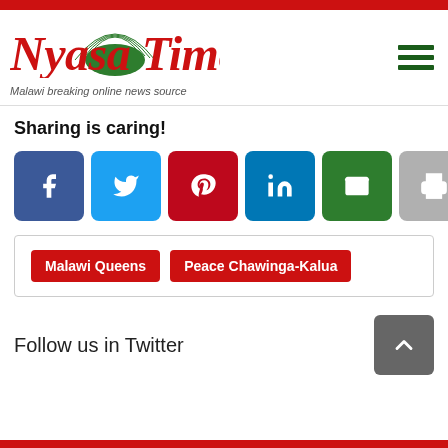[Figure (logo): Nyasa Times logo - Malawi breaking online news source]
Sharing is caring!
[Figure (infographic): Social share buttons: Facebook, Twitter, Pinterest, LinkedIn, Email, Print with 0 SHARES count]
Malawi Queens  Peace Chawinga-Kalua
Follow us in Twitter
27 COMMENTS